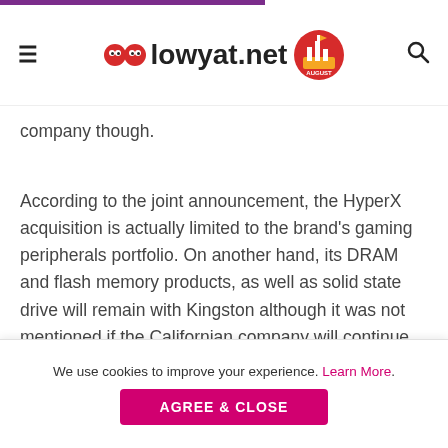lowyat.net
company though.
According to the joint announcement, the HyperX acquisition is actually limited to the brand's gaming peripherals portfolio. On another hand, its DRAM and flash memory products, as well as solid state drive will remain with Kingston although it was not mentioned if the Californian company will continue to sell them with HyperX branding.
[Figure (photo): Photo showing a monitor/display against a concrete wall background, with a pillow visible on the right side]
We use cookies to improve your experience. Learn More.
AGREE & CLOSE